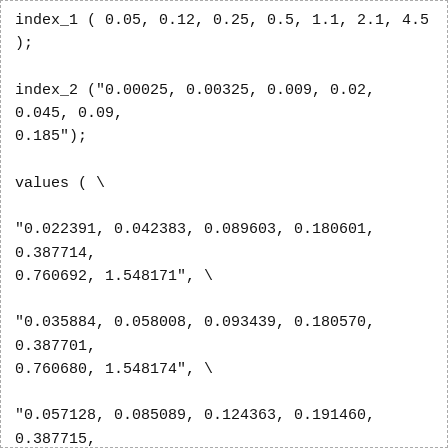index_1 ( 0.05, 0.12, 0.25, 0.5, 1.1, 2.1, 4.5 );

index_2 ("0.00025, 0.00325, 0.009, 0.02, 0.045, 0.09, 0.185");

values ( \

"0.022391, 0.042383, 0.089603, 0.180601, 0.387714, 0.760692, 1.548171", \

"0.035884, 0.058008, 0.093439, 0.180570, 0.387701, 0.760680, 1.548174", \

"0.057128, 0.085089, 0.124363, 0.191460, 0.387715, 0.760690, 1.548171", \

"0.093106, 0.130545, 0.178846, 0.252479, 0.406319, 0.760685, 1.548175", \

"0.165070, 0.222021, 0.291107, 0.384197, 0.551598, 0.821725, 1.548156", \

"0.267784, 0.349354, 0.447297, 0.572893, 0.775659,